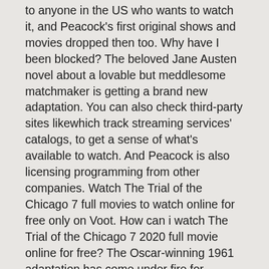to anyone in the US who wants to watch it, and Peacock's first original shows and movies dropped then too. Why have I been blocked? The beloved Jane Austen novel about a lovable but meddlesome matchmaker is getting a brand new adaptation. You can also check third-party sites likewhich track streaming services' catalogs, to get a sense of what's available to watch. And Peacock is also licensing programming from other companies. Watch The Trial of the Chicago 7 full movies to watch online for free only on Voot. How can i watch The Trial of the Chicago 7 2020 full movie online for free? The Oscar-winning 1961 adaptation has come under fire for whitewashing in recent years, and the remake team to casting Latinx actors in all of the movie's Puerto Rican roles. Maybe real life has made it so that nothing seems over the top anymore. But one of Peacock's most anticipated